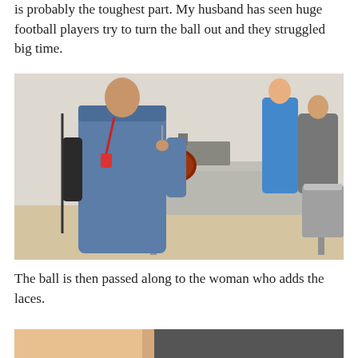is probably the toughest part. My husband has seen huge football players try to turn the ball out and they struggled big time.
[Figure (photo): A person in a denim jacket with a red lanyard operating a machine to turn a football inside out on a worktable at what appears to be an exhibition or event.]
The ball is then passed along to the woman who adds the laces.
[Figure (photo): Partial photo at the bottom of the page, cropped, showing what appears to be hands working on a surface.]